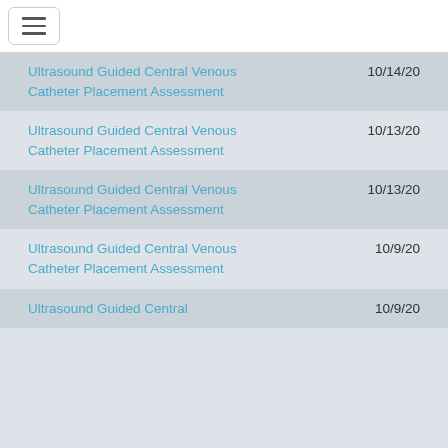Ultrasound Guided Central Venous Catheter Placement Assessment  10/14/20
Ultrasound Guided Central Venous Catheter Placement Assessment  10/13/20
Ultrasound Guided Central Venous Catheter Placement Assessment  10/13/20
Ultrasound Guided Central Venous Catheter Placement Assessment  10/9/20
Ultrasound Guided Central  10/9/20